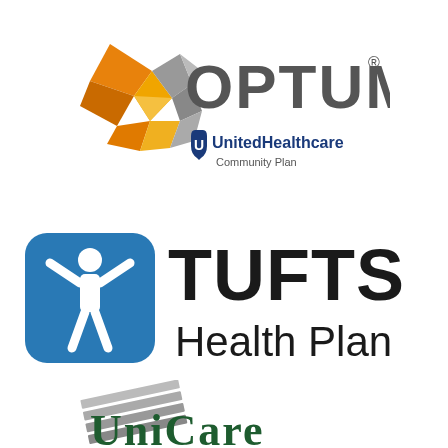[Figure (logo): Optum logo with geometric diamond shape in orange/gold/gray polygons, text OPTUM in large gray letters with registered trademark symbol, and UnitedHealthcare Community Plan logo below in blue and gray]
[Figure (logo): Tufts Health Plan logo with blue rounded square containing white figure with raised arms, large black text TUFTS Health Plan]
[Figure (logo): UniCare logo with diagonal gray stripes graphic and green serif text UniCare partially visible]